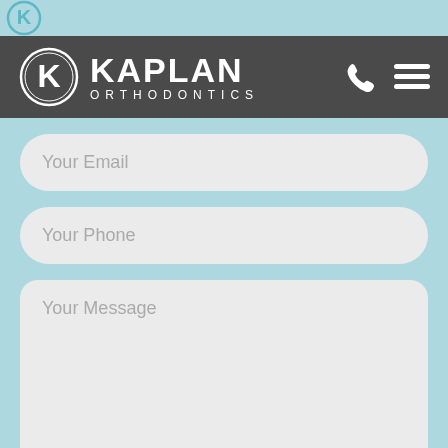[Figure (logo): Kaplan Orthodontics logo with K in circle and navigation icons (phone and hamburger menu) on dark gray navigation bar]
Your Email
Your Phone
Your Message